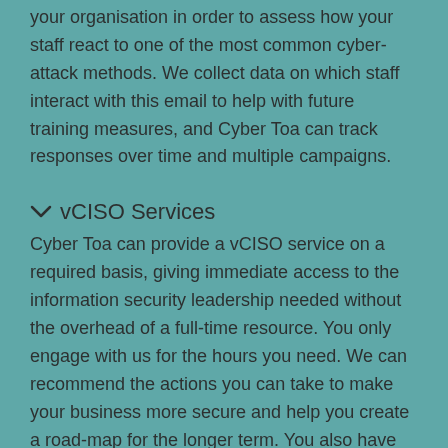your organisation in order to assess how your staff react to one of the most common cyber-attack methods. We collect data on which staff interact with this email to help with future training measures, and Cyber Toa can track responses over time and multiple campaigns.
vCISO Services
Cyber Toa can provide a vCISO service on a required basis, giving immediate access to the information security leadership needed without the overhead of a full-time resource. You only engage with us for the hours you need. We can recommend the actions you can take to make your business more secure and help you create a road-map for the longer term. You also have the back up of Cyber Toa's highly skilled team,